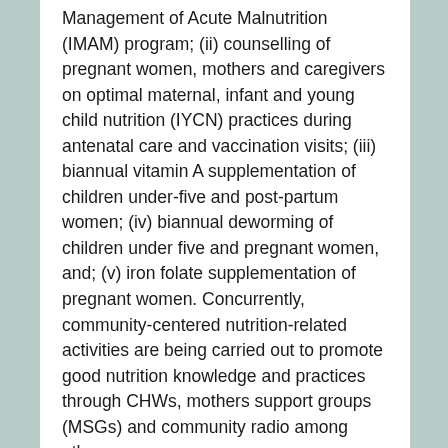Management of Acute Malnutrition (IMAM) program; (ii) counselling of pregnant women, mothers and caregivers on optimal maternal, infant and young child nutrition (IYCN) practices during antenatal care and vaccination visits; (iii) biannual vitamin A supplementation of children under-five and post-partum women; (iv) biannual deworming of children under five and pregnant women, and; (v) iron folate supplementation of pregnant women. Concurrently, community-centered nutrition-related activities are being carried out to promote good nutrition knowledge and practices through CHWs, mothers support groups (MSGs) and community radio among others.
At the community level, the peripheral health units (PHUs) have been guiding CHWs in supervising MSG activities. Under this arrangement, CHWs have been serving as a link between MSGs and PHUs to